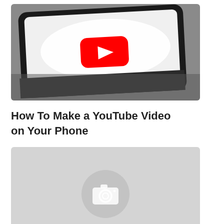[Figure (photo): A smartphone lying on a dark surface displaying the YouTube logo (red rounded rectangle with white play triangle)]
How To Make a YouTube Video on Your Phone
[Figure (photo): Gray placeholder image with a white camera icon centered inside a circular background]
7 Important Tips in Creating...